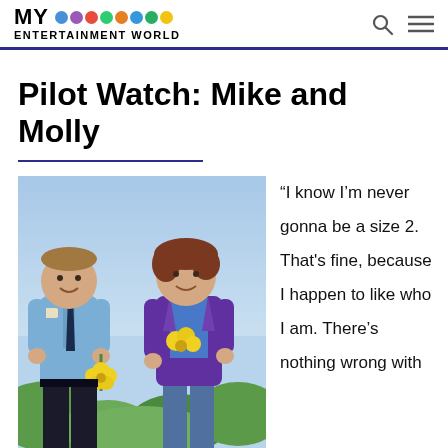MY ENTERTAINMENT WORLD
Pilot Watch: Mike and Molly
[Figure (photo): Promotional photo of two actors from Mike and Molly TV show: a man in a blue police/security uniform holding yellow flowers and a woman in a purple blazer also holding yellow flowers, standing outdoors with greenery and blue sky in background.]
“I know I’m never gonna be a size 2. That’s fine, because I happen to like who I am. There’s nothing wrong with